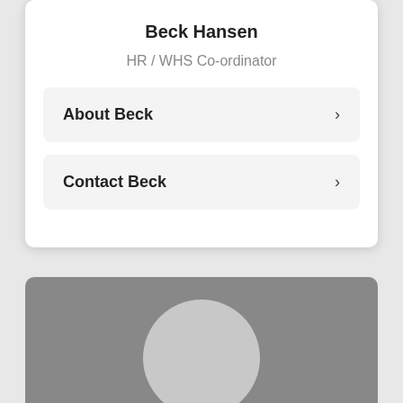Beck Hansen
HR / WHS Co-ordinator
About Beck ›
Contact Beck ›
[Figure (photo): Placeholder profile photo card with grey background and light grey circle representing a person avatar]